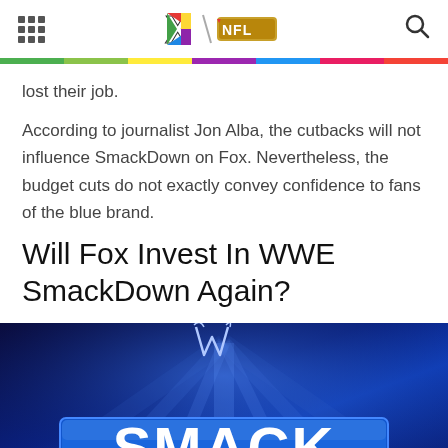[Grid menu] X/NFL logo [Search]
lost their job.
According to journalist Jon Alba, the cutbacks will not influence SmackDown on Fox. Nevertheless, the budget cuts do not exactly convey confidence to fans of the blue brand.
Will Fox Invest In WWE SmackDown Again?
[Figure (photo): WWE SmackDown logo on a dark blue background with light rays and the WWE logo above]